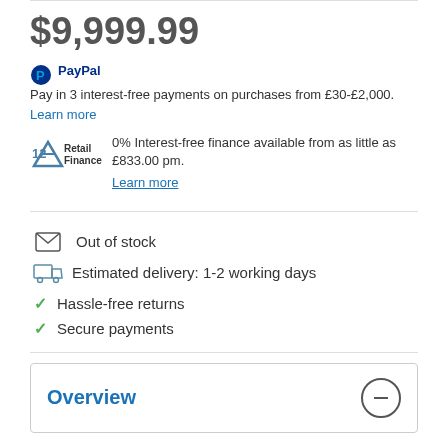$9,999.99
PayPal Pay in 3 interest-free payments on purchases from £30-£2,000. Learn more
0% Interest-free finance available from as little as £833.00 pm. Learn more
Out of stock
Estimated delivery: 1-2 working days
Hassle-free returns
Secure payments
Overview